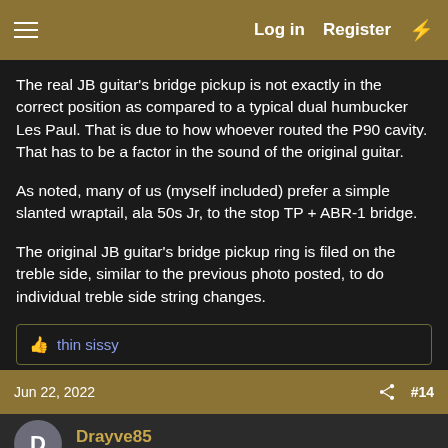Log in  Register
The real JB guitar's bridge pickup is not exactly in the correct position as compared to a typical dual humbucker Les Paul. That is due to how whoever routed the P90 cavity. That has to be a factor in the sound of the original guitar.
As noted, many of us (myself included) prefer a simple slanted wraptail, ala 50s Jr, to the stop TP + ABR-1 bridge.
The original JB guitar's bridge pickup ring is filed on the treble side, similar to the previous photo posted, to do individual treble side string changes.
👍 thin sissy
Jun 22, 2022  #14
Drayve85
Active member